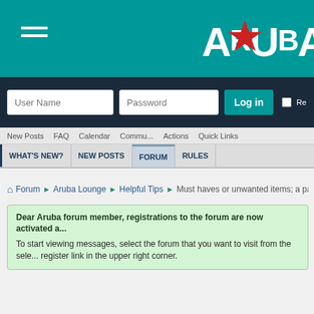[Figure (screenshot): Aruba forum website header with teal background, hamburger menu icon, and Aruba logo with red star]
[Figure (screenshot): Login bar with User Name and Password input fields and Log in button on dark navy background]
New Posts  FAQ  Calendar  Commu...  Actions  Quick Links
WHAT'S NEW?  NEW POSTS  FORUM  RULES
Forum » Aruba Lounge » Helpful Tips » Must haves or unwanted items; a pa...
Dear Aruba forum member, registrations to the forum are now activated a...
To start viewing messages, select the forum that you want to visit from the sele... register link in the upper right corner.